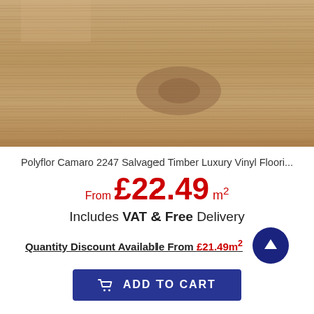[Figure (photo): Close-up photo of Polyflor Camaro 2247 Salvaged Timber luxury vinyl flooring showing wood grain texture in warm tan/brown tones]
Polyflor Camaro 2247 Salvaged Timber Luxury Vinyl Floori...
From £22.49 m²
Includes VAT & Free Delivery
Quantity Discount Available From £21.49m²
ADD TO CART